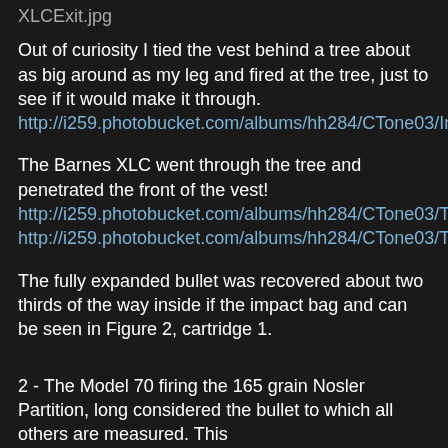XLCExit.jpg
Out of curiosity I tied the vest behind a tree about as big around as my leg and fired at the tree, just to see if it would make it through.
http://i259.photobucket.com/albums/hh284/CTone03/ImpactThruTree.jpg
The Barnes XLC went through the tree and penetrated the front of the vest!
http://i259.photobucket.com/albums/hh284/CTone03/TreePenetration3.jpg
http://i259.photobucket.com/albums/hh284/CTone03/TreeVestPenetration.jpg
The fully expanded bullet was recovered about two thirds of the way inside if the impact bag and can be seen in Figure 2, cartridge 1.
2 - The Model 70 firing the 165 grain Nosler Partition, long considered the bullet to which all others are measured. This